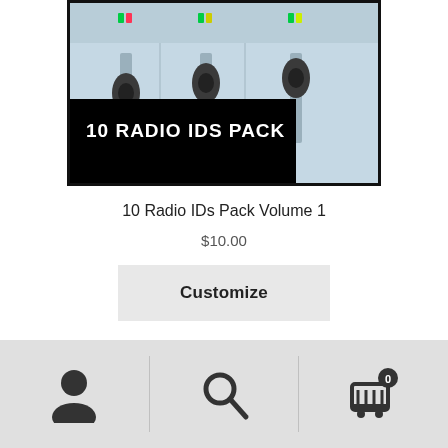[Figure (photo): Audio mixing console/mixer with faders and knobs, light blue toned image. Black overlay banner in lower-left with white bold text '10 RADIO IDS PACK'.]
10 Radio IDs Pack Volume 1
$10.00
Customize
Navigation bar with user icon, search icon, and cart icon with badge '0'